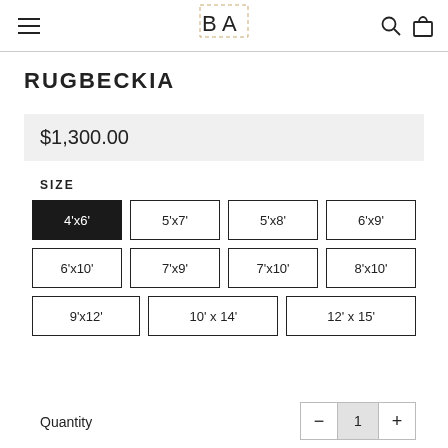BA (logo with hamburger menu, search icon, bag icon)
RUGBECKIA
$1,300.00
SIZE
4'x6' (selected)
5'x7'
5'x8'
6'x9'
6'x10'
7'x9'
7'x10'
8'x10'
9'x12'
10' x 14'
12' x 15'
Quantity
1